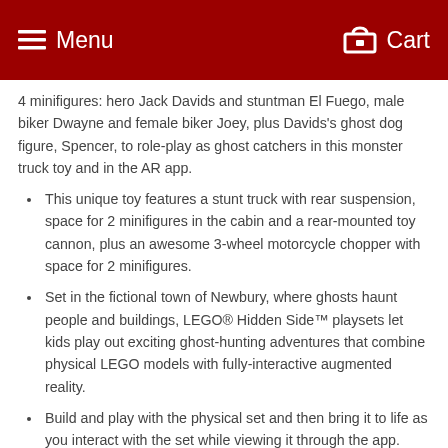Menu  Cart
4 minifigures: hero Jack Davids and stuntman El Fuego, male biker Dwayne and female biker Joey, plus Davids's ghost dog figure, Spencer, to role-play as ghost catchers in this monster truck toy and in the AR app.
This unique toy features a stunt truck with rear suspension, space for 2 minifigures in the cabin and a rear-mounted toy cannon, plus an awesome 3-wheel motorcycle chopper with space for 2 minifigures.
Set in the fictional town of Newbury, where ghosts haunt people and buildings, LEGO® Hidden Side™ playsets let kids play out exciting ghost-hunting adventures that combine physical LEGO models with fully-interactive augmented reality.
Build and play with the physical set and then bring it to life as you interact with the set while viewing it through the app.
Using the LEGO® Hidden Side™ app is like looking